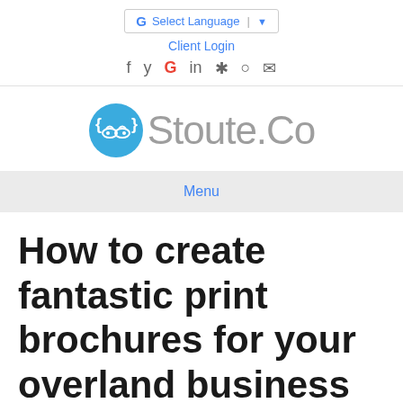Select Language | ▼
Client Login
[Figure (logo): Stoute.Co logo with curly braces and glasses icon in blue circle]
Menu
How to create fantastic print brochures for your overland business